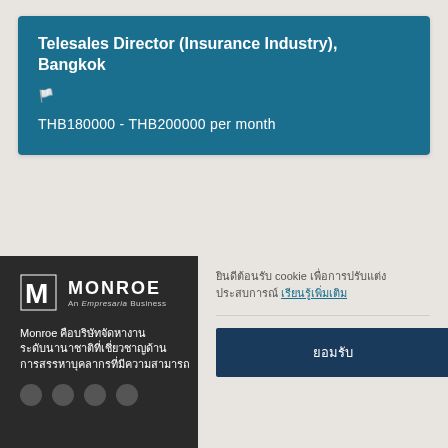Telesales Director (Insurance Industry), Bangkok
🏳️
THB180000 - THB200000 per month
[Figure (logo): Monroe Consulting Group logo - An Empresaria Business]
Monroe คือบริษัทจัดหางาน ระดับนานาชาติ
ยินดีต้อนรับ cookie เพื่อการปรับแต่งประสบการณ์ เรียนรู้เพิ่มเติม
ยอมรับ